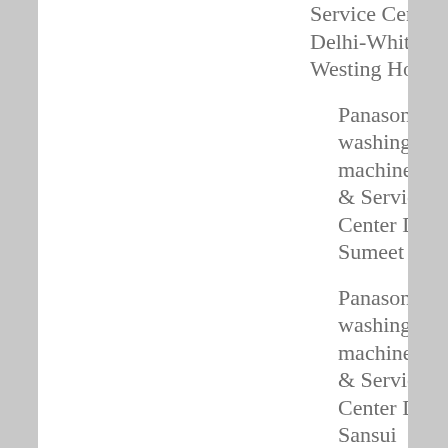Service Center Delhi-White Westing House
Panasonic washing machine Repair & Service Center Delhi-Sumeet
Panasonic washing machine Repair & Service Center Delhi-Sansui
Panasonic washing machine